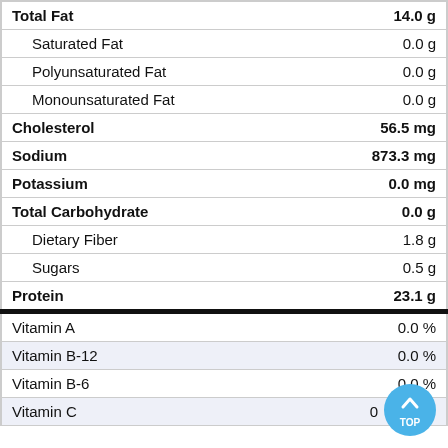| Nutrient | Amount |
| --- | --- |
| Total Fat | 14.0 g |
| Saturated Fat | 0.0 g |
| Polyunsaturated Fat | 0.0 g |
| Monounsaturated Fat | 0.0 g |
| Cholesterol | 56.5 mg |
| Sodium | 873.3 mg |
| Potassium | 0.0 mg |
| Total Carbohydrate | 0.0 g |
| Dietary Fiber | 1.8 g |
| Sugars | 0.5 g |
| Protein | 23.1 g |
| Vitamin A | 0.0 % |
| Vitamin B-12 | 0.0 % |
| Vitamin B-6 | 0.0 % |
| Vitamin C | 0 ... |